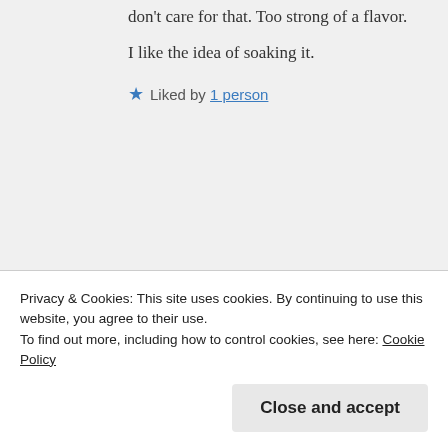don't care for that. Too strong of a flavor.
I like the idea of soaking it.
★ Liked by 1 person
brilliantviewpoint says:
NOVEMBER 18, 2021 AT 7:53 PM
I don't like goat meat, venison or rabbit. Moose hamburgers were mixed with cow meat that's why they were moist and not gamey.
Privacy & Cookies: This site uses cookies. By continuing to use this website, you agree to their use.
To find out more, including how to control cookies, see here: Cookie Policy
Close and accept